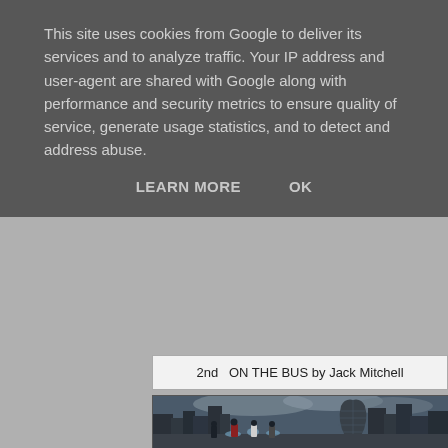This site uses cookies from Google to deliver its services and to analyze traffic. Your IP address and user-agent are shared with Google along with performance and security metrics to ensure quality of service, generate usage statistics, and to detect and address abuse.
LEARN MORE    OK
2nd  ON THE BUS by Jack Mitchell
[Figure (photo): Urban street scene with people near water fountains, with London city skyline including the Gherkin building visible in the background under a dramatic cloudy sky.]